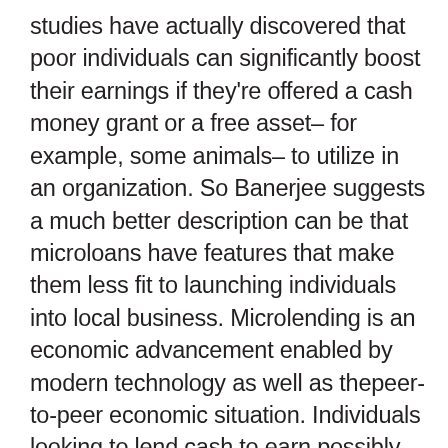studies have actually discovered that poor individuals can significantly boost their earnings if they're offered a cash money grant or a free asset– for example, some animals– to utilize in an organization. So Banerjee suggests a much better description can be that microloans have features that make them less fit to launching individuals into local business. Microlending is an economic advancement enabled by modern technology as well as thepeer-to-peer economic situation. Individuals looking to lend cash to earn possibly high returns may fund borrowers who either have no accessibility to credit scores due to geography or can not get credit report from traditional resources, such as banks or cooperative credit union.